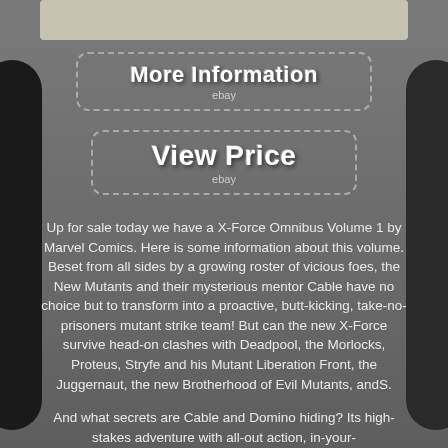[Figure (photo): Partial top strip showing a book cover image on a grey background]
More Information
ebay
View Price
ebay
Up for sale today we have a X-Force Omnibus Volume 1 by Marvel Comics. Here is some information about this volume. Beset from all sides by a growing roster of vicious foes, the New Mutants and their mysterious mentor Cable have no choice but to transform into a proactive, butt-kicking, take-no-prisoners mutant strike team! But can the new X-Force survive head-on clashes with Deadpool, the Morlocks, Proteus, Stryfe and his Mutant Liberation Front, the Juggernaut, the new Brotherhood of Evil Mutants, andS.
And what secrets are Cable and Domino hiding? Its high-stakes adventure with all-out action, in-your-